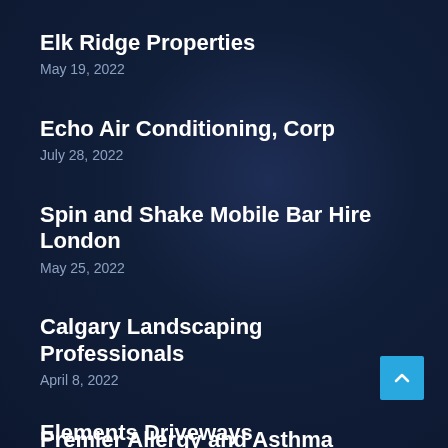Elk Ridge Properties
May 19, 2022
Echo Air Conditioning, Corp
July 28, 2022
Spin and Shake Mobile Bar Hire London
May 25, 2022
Calgary Landscaping Professionals
April 8, 2022
Premier Allergy and Asthma Centers, LLC
May 10, 2022
Elements Driveways